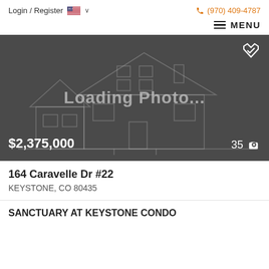Login / Register  🇺🇸 ∨    📞 (970) 409-4787
≡ MENU
[Figure (photo): Loading Photo... placeholder with dark background showing a house outline sketch. Price $2,375,000 shown at bottom left, photo count 35 with camera icon at bottom right, heart/save icon at top right.]
164 Caravelle Dr #22
KEYSTONE, CO 80435
SANCTUARY AT KEYSTONE CONDO